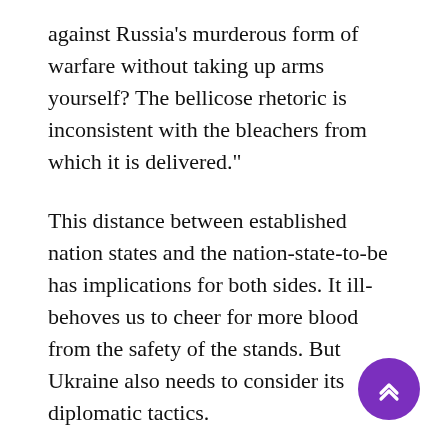against Russia's murderous form of warfare without taking up arms yourself? The bellicose rhetoric is inconsistent with the bleachers from which it is delivered."
This distance between established nation states and the nation-state-to-be has implications for both sides. It ill-behoves us to cheer for more blood from the safety of the stands. But Ukraine also needs to consider its diplomatic tactics.
Habermas has been accused of suggesting that Volodymyr Zelensky and Ukraine's information warriors are manipulating us through their slick media op and engaging in moral blackmail, which of course they are. Nor is there any shame in that. Kyiv is fighting the information war with the same determination and s[howing on other fronts. It is doing exactly what it must